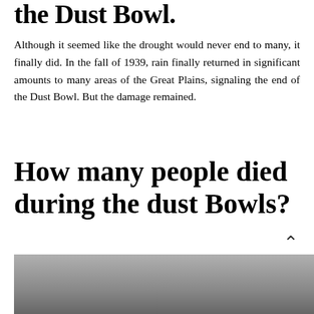the Dust Bowl.
Although it seemed like the drought would never end to many, it finally did. In the fall of 1939, rain finally returned in significant amounts to many areas of the Great Plains, signaling the end of the Dust Bowl. But the damage remained.
How many people died during the dust Bowls?
In the Dust Bowl, about 7,000 people, men, women and especially small children lost their lives to “dust pneumonia.” At least 250,000 people fled the Plains.
[Figure (photo): Black and white historical photograph related to the Dust Bowl, partially visible at the bottom of the page.]